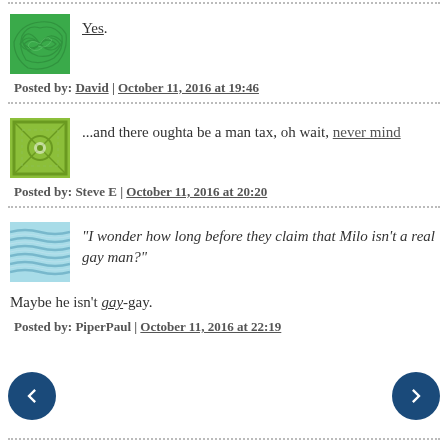Yes.
Posted by: David | October 11, 2016 at 19:46
...and there oughta be a man tax, oh wait, never mind
Posted by: Steve E | October 11, 2016 at 20:20
"I wonder how long before they claim that Milo isn't a real gay man?"
Maybe he isn't gay-gay.
Posted by: PiperPaul | October 11, 2016 at 22:19